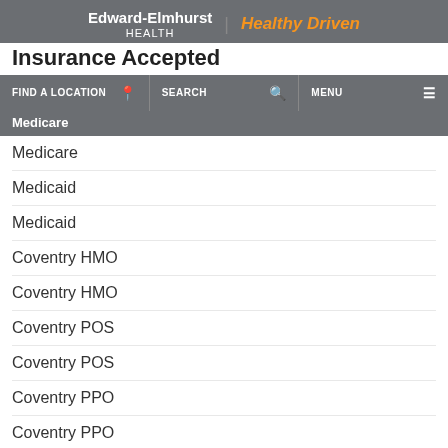Edward-Elmhurst HEALTH | Healthy Driven
Insurance Accepted
FIND A LOCATION | SEARCH | MENU | Medicare
Medicare
Medicaid
Medicaid
Coventry HMO
Coventry HMO
Coventry POS
Coventry POS
Coventry PPO
Coventry PPO
Illinois Health Partners
Aetna EPO
Aetna HMO
Aetna HMO
Aetna Medicare Open Basic
Eleanor here! How can I help?